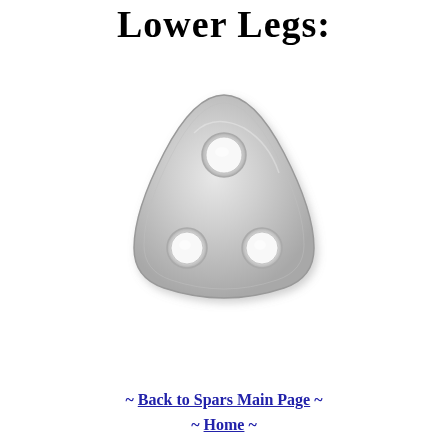Lower Legs:
[Figure (photo): A triangular metal plate (mast tang or rigging plate) with three holes — one at the top center and two at the bottom left and right corners. The plate is silver/galvanized steel with rounded edges and a slightly beveled profile.]
~ Back to Spars Main Page ~ ~ Home ~